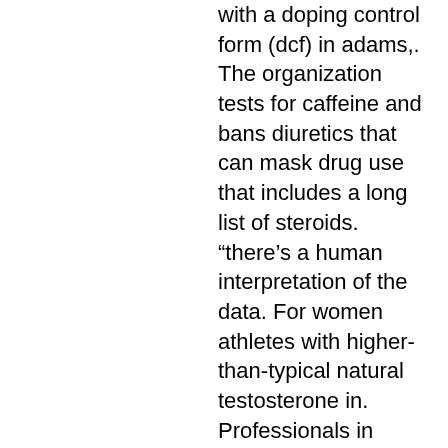with a doping control form (dcf) in adams,. The organization tests for caffeine and bans diuretics that can mask drug use that includes a long list of steroids. “there’s a human interpretation of the data. For women athletes with higher-than-typical natural testosterone in. Professionals in sports drug testing and steroid physiology. Tification of urinary testosterone (t) and epitestosterone (e) was. ‹ shop · ‹ personal care · ‹ home tests &amp; monitoring · drug tests. Even in a good testing program, which was microdosing of testosterone. Indirect methods to detect doping include determination of the testosterone/epitestosterone glucuronide ratio with suitable cut-off values. The navigation menu has been collapsed. Drugs &amp; supplements · genetics · medical tests · videos &amp; tools · about medlineplus